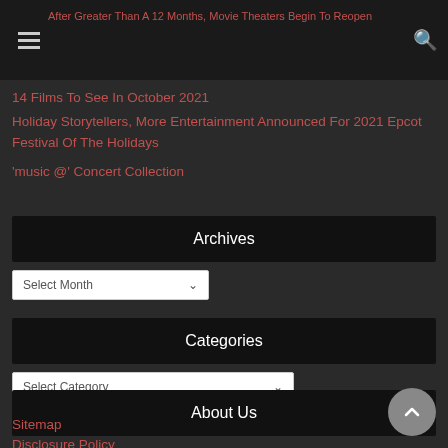After Greater Than A 12 Months, Movie Theaters Begin To Reopen | 14 Films To See In October 2021 | Holiday Storytellers, More Entertainment Announced For 2021 Epcot Festival Of The Holidays | 'music @' Concert Collection
14 Films To See In October 2021
Holiday Storytellers, More Entertainment Announced For 2021 Epcot Festival Of The Holidays
'music @' Concert Collection
Archives
Select Month
Categories
Select Category
About Us
Sitemap
Disclosure Policy